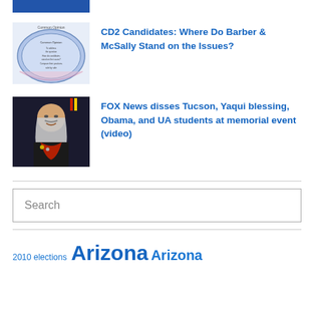[Figure (screenshot): Partial blue image at top of page, cropped]
[Figure (screenshot): Thumbnail image showing a circular graphic with text on a blue/white background, labeled 'Common Opinion']
CD2 Candidates: Where Do Barber & McSally Stand on the Issues?
[Figure (photo): Photo of an elderly Native American person wearing traditional regalia with a red scarf, in front of a dark background]
FOX News disses Tucson, Yaqui blessing, Obama, and UA students at memorial event (video)
Search
2010 elections  Arizona  Arizona